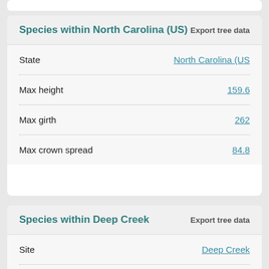Species within North Carolina (US)
| Field | Value |
| --- | --- |
| State | North Carolina (US) |
| Max height | 159.6 |
| Max girth | 262 |
| Max crown spread | 84.8 |
Species within Deep Creek
| Field | Value |
| --- | --- |
| Site | Deep Creek |
| Ownership type | Public · nationa... |